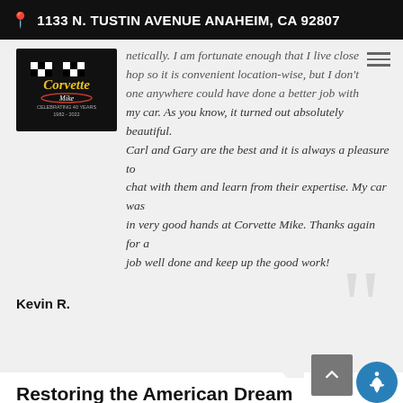1133 N. TUSTIN AVENUE ANAHEIM, CA 92807
netically. I am fortunate enough that I live close hop so it is convenient location-wise, but I don't one anywhere could have done a better job with my car. As you know, it turned out absolutely beautiful. Carl and Gary are the best and it is always a pleasure to chat with them and learn from their expertise. My car was in very good hands at Corvette Mike. Thanks again for a job well done and keep up the good work!
Kevin R.
Restoring the American Dream
Award Winning Results
Genuine GM Parts